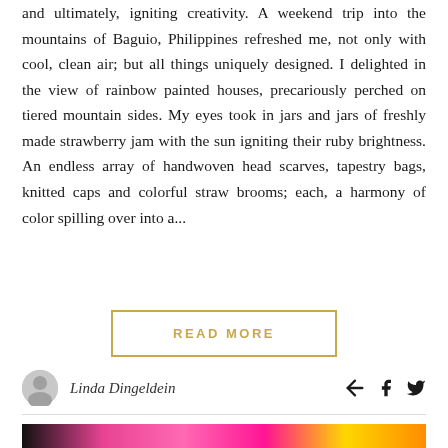and ultimately, igniting creativity. A weekend trip into the mountains of Baguio, Philippines refreshed me, not only with cool, clean air; but all things uniquely designed. I delighted in the view of rainbow painted houses, precariously perched on tiered mountain sides. My eyes took in jars and jars of freshly made strawberry jam with the sun igniting their ruby brightness. An endless array of handwoven head scarves, tapestry bags, knitted caps and colorful straw brooms; each, a harmony of color spilling over into a...
READ MORE
Linda Dingeldein